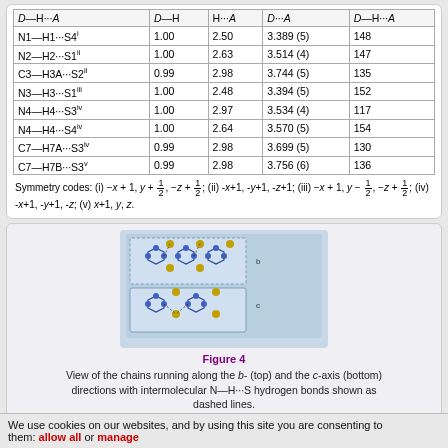| D—H···A | D—H | H···A | D···A | D—H···A |
| --- | --- | --- | --- | --- |
| N1—H1···S4i | 1.00 | 2.50 | 3.389 (5) | 148 |
| N2—H2···S1ii | 1.00 | 2.63 | 3.514 (4) | 147 |
| C3—H3A···S2ii | 0.99 | 2.98 | 3.744 (5) | 135 |
| N3—H3···S1iii | 1.00 | 2.48 | 3.394 (5) | 152 |
| N4—H4···S3iv | 1.00 | 2.97 | 3.534 (4) | 117 |
| N4—H4···S4iv | 1.00 | 2.64 | 3.570 (5) | 154 |
| C7—H7A···S3iv | 0.99 | 2.98 | 3.699 (5) | 130 |
| C7—H7B···S3v | 0.99 | 2.98 | 3.756 (6) | 136 |
Symmetry codes: (i) -x+1, y+1/2, -z+1/2; (ii) -x+1, -y+1, -z+1; (iii) -x+1, y-1/2, -z+1/2; (iv) -x+1, -y+1, -z; (v) x+1, y, z.
[Figure (illustration): Crystal structure diagram showing chains running along the b- and c-axis directions with intermolecular N-H...S hydrogen bonds shown as dashed lines.]
Figure 4
View of the chains running along the b- (top) and the c-axis (bottom) directions with intermolecular N—H···S hydrogen bonds shown as dashed lines.
[Figure (illustration): Partial crystal structure diagram (another figure, partially visible at bottom of page).]
We use cookies on our websites, and by using this site you are consenting to them: allow all or manage